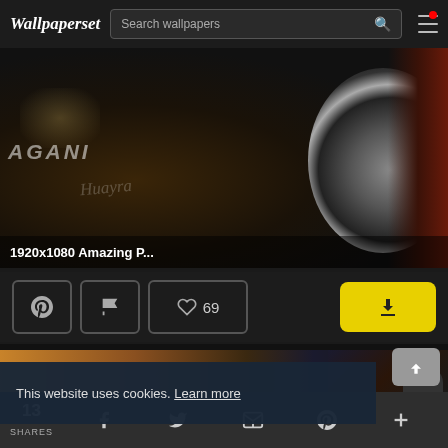Wallpaperset — Search wallpapers
[Figure (screenshot): Dark Pagani Huayra sports car with chrome wheel, close-up detail shot showing AGANI badge and logo script]
1920x1080 Amazing P...
[Figure (screenshot): Action buttons row: Pinterest icon, Flag icon, Heart with 69 likes, and yellow download button]
[Figure (screenshot): Bottom thumbnail image showing desert/mountain landscape with golden-brown gradient]
This website uses cookies. Learn more
13 SHARES — social share icons: Facebook, Twitter, Email, Pinterest, Plus